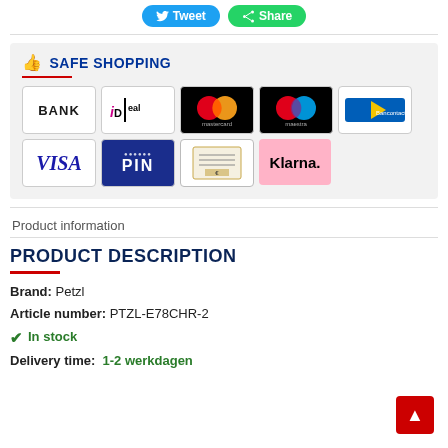[Figure (other): Tweet and WhatsApp Share buttons at top of page]
[Figure (infographic): Safe Shopping section with payment method logos: BANK, iDEAL, Mastercard, Maestro, Bancontact, VISA, PIN, Bill payment, Klarna]
Product information
PRODUCT DESCRIPTION
Brand: Petzl
Article number: PTZL-E78CHR-2
✓ In stock
Delivery time: 1-2 werkdagen